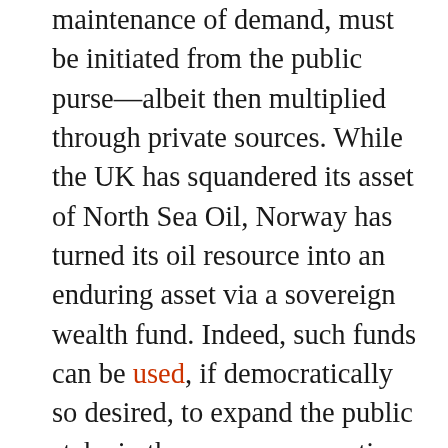maintenance of demand, must be initiated from the public purse—albeit then multiplied through private sources. While the UK has squandered its asset of North Sea Oil, Norway has turned its oil resource into an enduring asset via a sovereign wealth fund. Indeed, such funds can be used, if democratically so desired, to expand the public stake in the economy over time as revenue from existing investments is reinvested elsewhere: favouring enterprises in the 'green' economy or those otherwise 'eco-efficient' in this way would be an ideal means to bring about the greening of the UK economy, which is a laggard too in such markets as for renewable-energy production.